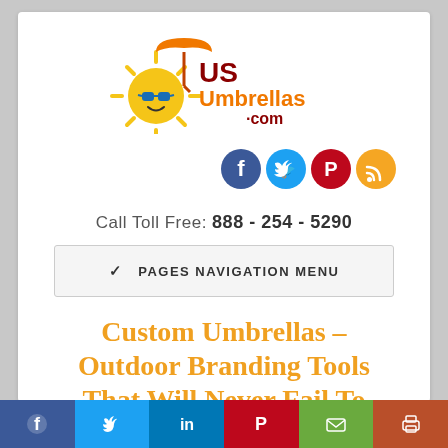[Figure (logo): USUmbrellas.com logo with cartoon sun wearing sunglasses under an orange umbrella, text 'US' in dark red, 'Umbrellas' in orange, '.com' in dark red]
[Figure (infographic): Four social media icon circles: Facebook (blue), Twitter (light blue), Pinterest (dark red), RSS feed (orange)]
Call Toll Free: 888 - 254 - 5290
PAGES NAVIGATION MENU
Custom Umbrellas – Outdoor Branding Tools That Will Never Fail To
[Figure (infographic): Bottom share bar with icons: Facebook (blue), Twitter (cyan), LinkedIn (blue), Pinterest (red), Email (green), Print (brown-red)]